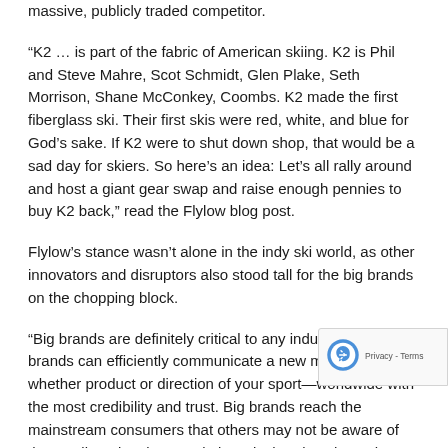massive, publicly traded competitor.
“K2 … is part of the fabric of American skiing. K2 is Phil and Steve Mahre, Scot Schmidt, Glen Plake, Seth Morrison, Shane McConkey, Coombs. K2 made the first fiberglass ski. Their first skis were red, white, and blue for God’s sake. If K2 were to shut down shop, that would be a sad day for skiers. So here’s an idea: Let’s all rally around and host a giant gear swap and raise enough pennies to buy K2 back,” read the Flylow blog post.
Flylow’s stance wasn’t alone in the indy ski world, as other innovators and disruptors also stood tall for the big brands on the chopping block.
“Big brands are definitely critical to any industry. Big brands can efficiently communicate a new message—whether product or direction of your sport—worldwide with the most credibility and trust. Big brands reach the mainstream consumers that others may not be aware of the smaller micro brew style brands that don’t have the bandwidth to reach as many people,” said Jason